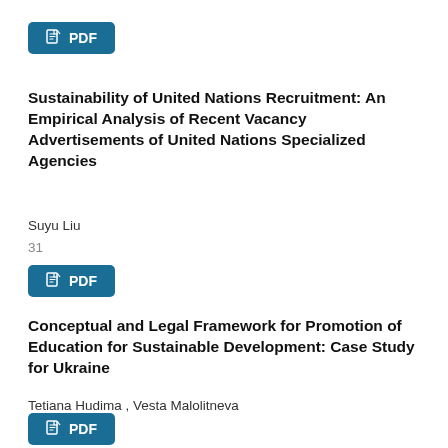[Figure (other): PDF button at top of page]
Sustainability of United Nations Recruitment: An Empirical Analysis of Recent Vacancy Advertisements of United Nations Specialized Agencies
Suyu Liu
31
[Figure (other): PDF button below first article]
Conceptual and Legal Framework for Promotion of Education for Sustainable Development: Case Study for Ukraine
Tetiana Hudima , Vesta Malolitneva
42
[Figure (other): PDF button below second article]